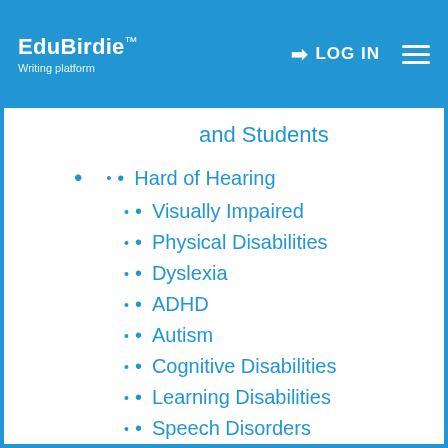EduBirdie™ Writing platform | LOG IN
and Students
Hard of Hearing
Visually Impaired
Physical Disabilities
Dyslexia
ADHD
Autism
Cognitive Disabilities
Learning Disabilities
Speech Disorders